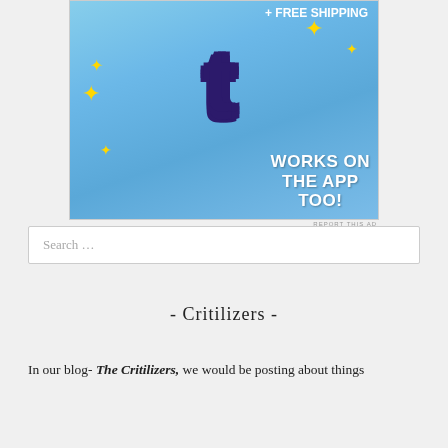[Figure (screenshot): Tumblr advertisement showing the Tumblr 't' logo in pink/purple gradient with sparkles on a blue sky background, text reading '+ FREE SHIPPING' at top and 'WORKS ON THE APP TOO!' overlaid on the image]
REPORT THIS AD
Search …
- Critilizers -
In our blog- The Critilizers, we would be posting about things